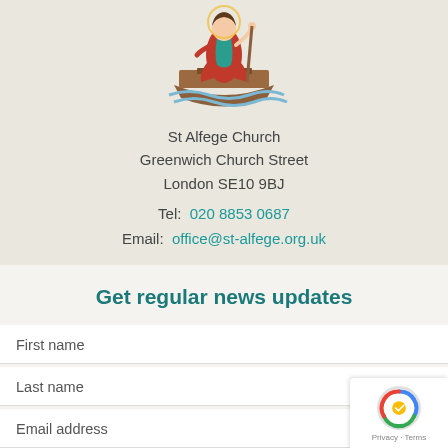[Figure (illustration): St Alfege Church logo showing a saint figure in a wooden boat on water, wearing red and teal robes]
St Alfege Church
Greenwich Church Street
London SE10 9BJ
Tel:  020 8853 0687
Email:  office@st-alfege.org.uk
Get regular news updates
First name
Last name
Email address